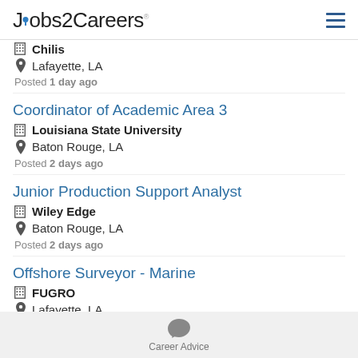Jobs2Careers
Chilis | Lafayette, LA | Posted 1 day ago
Coordinator of Academic Area 3 | Louisiana State University | Baton Rouge, LA | Posted 2 days ago
Junior Production Support Analyst | Wiley Edge | Baton Rouge, LA | Posted 2 days ago
Offshore Surveyor - Marine | FUGRO | Lafayette, LA
Career Advice